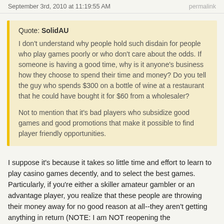September 3rd, 2010 at 11:19:55 AM    permalink
Quote: SolidAU
I don't understand why people hold such disdain for people who play games poorly or who don't care about the odds. If someone is having a good time, why is it anyone's business how they choose to spend their time and money? Do you tell the guy who spends $300 on a bottle of wine at a restaurant that he could have bought it for $60 from a wholesaler?

Not to mention that it's bad players who subsidize good games and good promotions that make it possible to find player friendly opportunities.
I suppose it's because it takes so little time and effort to learn to play casino games decently, and to select the best games. Particularly, if you're either a skiller amateur gambler or an advantage player, you realize that these people are throwing their money away for no good reason at all--they aren't getting anything in return (NOTE: I am NOT reopening the "entertainment value" debate--what I mean is that they are suffering a worse house advantage than they need to). And yes,